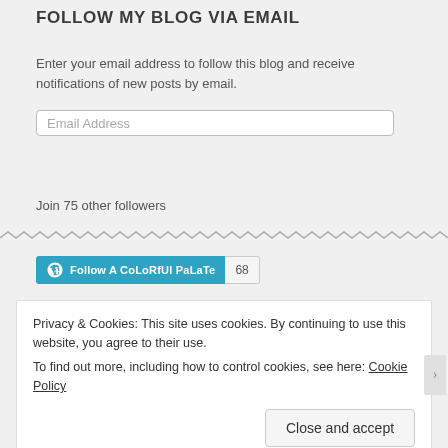FOLLOW MY BLOG VIA EMAIL
Enter your email address to follow this blog and receive notifications of new posts by email.
Join 75 other followers
[Figure (other): WordPress Follow A CoLoRfUl PaLaTe button with count 68]
Privacy & Cookies: This site uses cookies. By continuing to use this website, you agree to their use. To find out more, including how to control cookies, see here: Cookie Policy
Close and accept